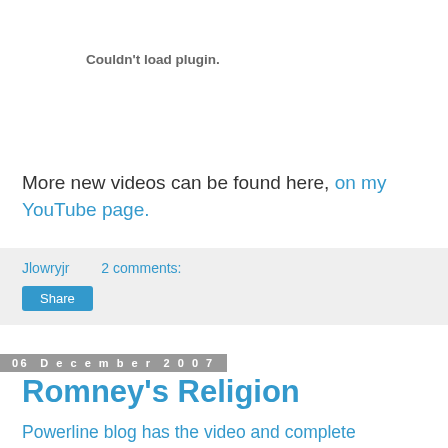[Figure (other): Plugin failed to load area with text 'Couldn't load plugin.']
More new videos can be found here, on my YouTube page.
Jlowryjr   2 comments:
Share
06 December 2007
Romney's Religion
Powerline blog has the video and complete prepared text of the speech given by Mitt Romney this morning. This was a strong move, well publicized and hopefully it will give him a